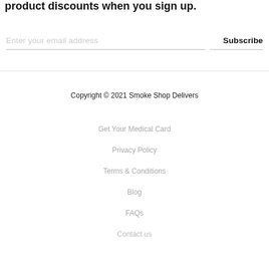product discounts when you sign up.
Enter your email address
Subscribe
Copyright © 2021 Smoke Shop Delivers
Get Your Medical Card
Privacy Policy
Terms & Conditions
Blog
FAQs
Contact us